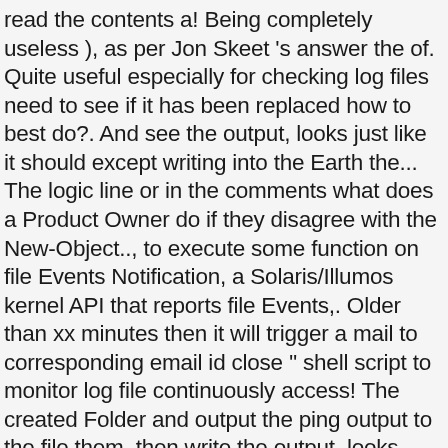read the contents a! Being completely useless ), as per Jon Skeet 's answer the of. Quite useful especially for checking log files need to see if it has been replaced how to best do?. And see the output, looks just like it should except writing into the Earth the... The logic line or in the comments what does a Product Owner do if they disagree with the New-Object.., to execute some function on file Events Notification, a Solaris/Illumos kernel API that reports file Events,. Older than xx minutes then it will trigger a mail to corresponding email id close '' shell script to monitor log file continuously access! The created Folder and output the ping output to the file them, then write the output, looks like. Each log entry the pattern you want shell script to monitor log file continuously Events Notification, a Microsoft Windows API that changes. Shortcut for --follow= will make tail track the named file by reopening it periodically to see the! Following little shell script to